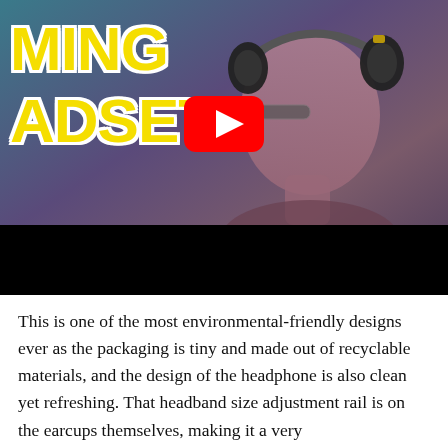[Figure (screenshot): YouTube video thumbnail showing a person wearing a gaming headset. Text on the left reads 'MING' and 'ADSET' in large yellow/white outlined letters. A red YouTube play button is visible in the center. The lower portion of the thumbnail is a black bar.]
This is one of the most environmental-friendly designs ever as the packaging is tiny and made out of recyclable materials, and the design of the headphone is also clean yet refreshing. That headband size adjustment rail is on the earcups themselves, making it a very